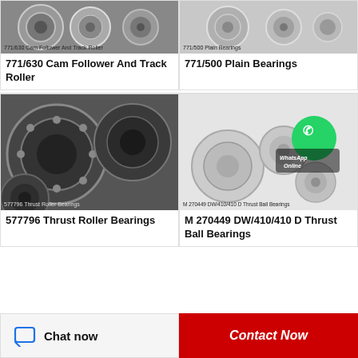[Figure (photo): Photo of cam follower and track roller bearings, close-up of metallic cylindrical roller parts. Caption overlay: 771/630 Cam Follower And Track Roller]
771/630  Cam Follower And Track Roller
[Figure (photo): Photo of plain bearings. Caption overlay: 771/500 Plain Bearings]
771/500  Plain Bearings
[Figure (photo): Close-up photo of multiple thrust roller bearings arranged together. Caption overlay: 577796 Thrust Roller Bearings]
577796 Thrust Roller Bearings
[Figure (photo): Photo of M 270449 DW/410/410 D thrust ball bearings with WhatsApp Online overlay icon. Caption overlay: M 270449 DW/410/410 D Thrust Ball Bearings]
M 270449 DW/410/410 D Thrust Ball Bearings
Chat now
Contact Now